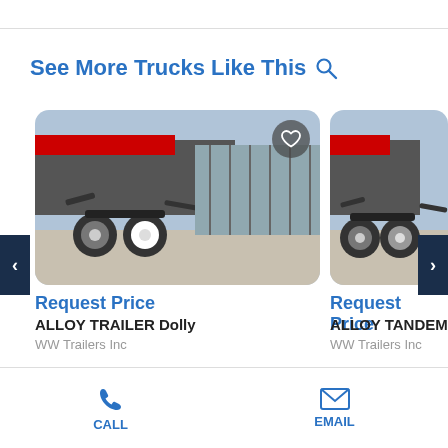See More Trucks Like This
[Figure (photo): Photo of an ALLOY TRAILER Dolly, showing axle and wheels, outdoor setting]
Request Price
ALLOY TRAILER Dolly
WW Trailers Inc
[Figure (photo): Photo of an ALLOY TANDEM trailer, outdoor setting, partially visible]
Request Price
ALLOY TANDEM D
WW Trailers Inc
CALL  EMAIL